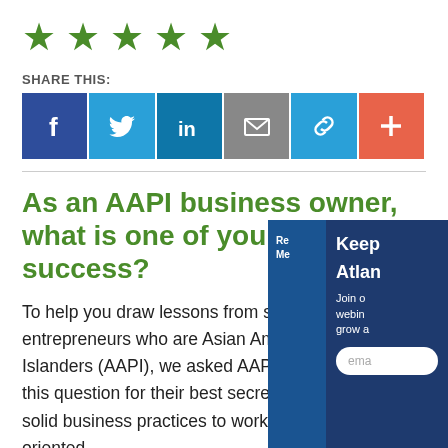[Figure (other): Five green star rating icons in a row]
SHARE THIS:
[Figure (infographic): Social share buttons row: Facebook (blue), Twitter (light blue), LinkedIn (blue), Email (gray), Link (blue), Plus/More (orange-red)]
As an AAPI business owner, what is one of your secrets to success?
To help you draw lessons from successful entrepreneurs who are Asian Americans and Pacific Islanders (AAPI), we asked AAPI business owners this question for their best secrets. From adopting solid business practices to working with a goal-oriented
[Figure (other): Sidebar overlay with dark blue background showing partial text: 'Keep Atlanta' and 'Join our webinars to grow a...' with email input field]